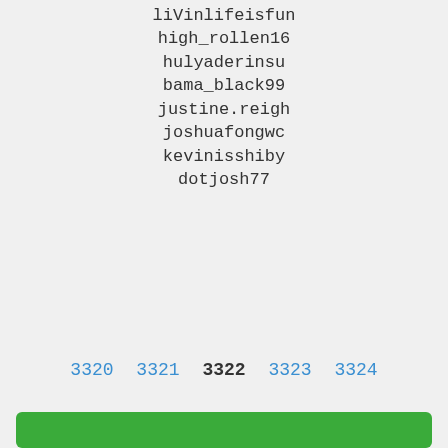liVinlifeisfun
high_rollen16
hulyaderinsu
bama_black99
justine.reigh
joshuafongwc
kevinisshiby
dotjosh77
3320  3321  3322  3323  3324